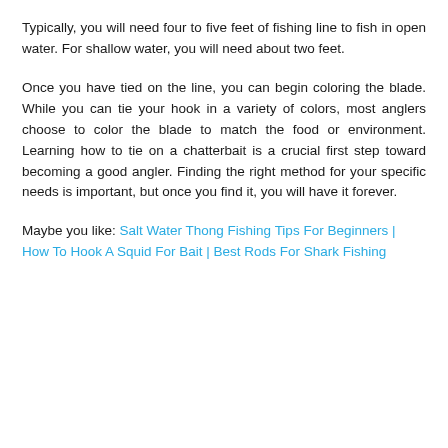Typically, you will need four to five feet of fishing line to fish in open water. For shallow water, you will need about two feet.
Once you have tied on the line, you can begin coloring the blade. While you can tie your hook in a variety of colors, most anglers choose to color the blade to match the food or environment. Learning how to tie on a chatterbait is a crucial first step toward becoming a good angler. Finding the right method for your specific needs is important, but once you find it, you will have it forever.
Maybe you like: Salt Water Thong Fishing Tips For Beginners | How To Hook A Squid For Bait | Best Rods For Shark Fishing